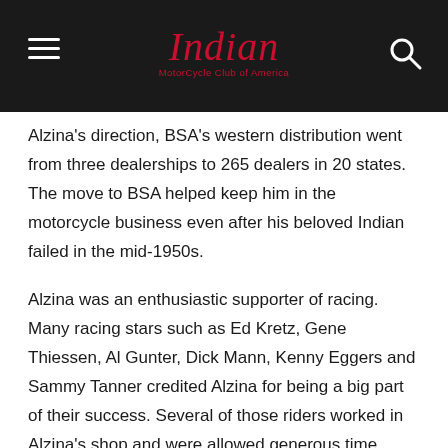Indian MotorCycle Club of America
Alzina's direction, BSA's western distribution went from three dealerships to 265 dealers in 20 states. The move to BSA helped keep him in the motorcycle business even after his beloved Indian failed in the mid-1950s.
Alzina was an enthusiastic supporter of racing. Many racing stars such as Ed Kretz, Gene Thiessen, Al Gunter, Dick Mann, Kenny Eggers and Sammy Tanner credited Alzina for being a big part of their success. Several of those riders worked in Alzina's shop and were allowed generous time away to travel to races.
At one point, Alzina also served as Vice President of the AMA.
Famous for his practical jokes, Alzina once walked a horse